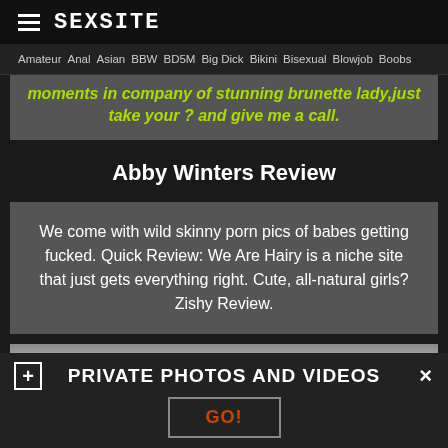SEXSITE
Amateur  Anal  Asian  BBW  BD5M  Big Dick  Bikini  Bisexual  Blowjob  Boobs
moments in company of stunning brunette lady,just take your ? and give me a call.
Abby Winters Review
We come with wild skinny porn pics of babes getting fucked. Quick Review: We Are Hairy is a niche site that just gets everything right. Cute, all-natural girls? Zishy Review.
[Figure (photo): Partial view of a photo at the bottom of the page]
PRIVATE PHOTOS AND VIDEOS
GO!